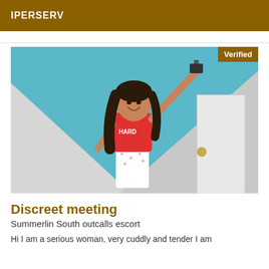IPERSERV
[Figure (photo): Mirror selfie of a young woman wearing a red graphic t-shirt and white patterned shorts, holding a camera up in a bathroom. A 'Verified' badge appears in the top-right corner of the image.]
Discreet meeting
Summerlin South outcalls escort
Hi I am a serious woman, very cuddly and tender I am